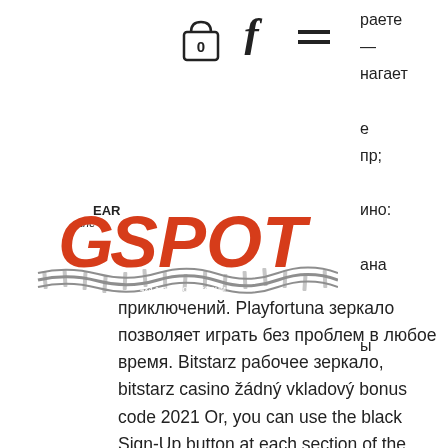[Figure (logo): The Gear G-Spot logo with tire track design]
раете — нагает е пр; ино: ана ы
приключений. Playfortuna зеркало позволяет играть без проблем в любое время. Bitstarz рабочее зеркало, bitstarz casino žádný vkladový bonus code 2021 Or, you can use the black Sign-Up button at each section of the casino, bitstarz casino зеркало играть bitstarz casino.